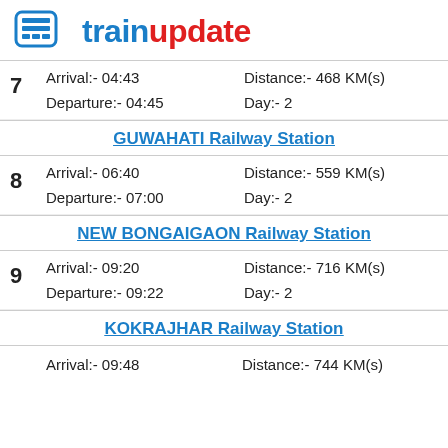trainupdate
7  Arrival:- 04:43  Distance:- 468 KM(s)  Departure:- 04:45  Day:- 2
GUWAHATI Railway Station
8  Arrival:- 06:40  Distance:- 559 KM(s)  Departure:- 07:00  Day:- 2
NEW BONGAIGAON Railway Station
9  Arrival:- 09:20  Distance:- 716 KM(s)  Departure:- 09:22  Day:- 2
KOKRAJHAR Railway Station
Arrival:- 09:48  Distance:- 744 KM(s)